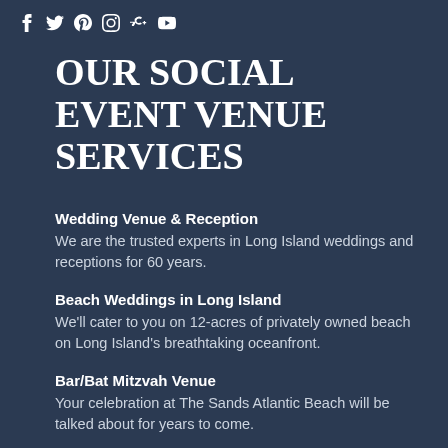[Social media icons: Facebook, Twitter, Pinterest, Instagram, Google+, YouTube]
OUR SOCIAL EVENT VENUE SERVICES
Wedding Venue & Reception
We are the trusted experts in Long Island weddings and receptions for 60 years.
Beach Weddings in Long Island
We'll cater to you on 12-acres of privately owned beach on Long Island's breathtaking oceanfront.
Bar/Bat Mitzvah Venue
Your celebration at The Sands Atlantic Beach will be talked about for years to come.
Bridal and Baby Showers